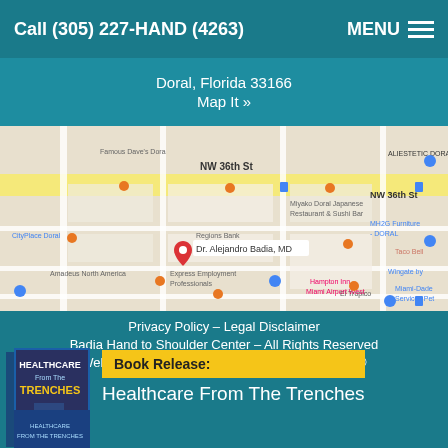Call (305) 227-HAND (4263)    MENU
Doral, Florida 33166
Map It »
[Figure (map): Google Maps screenshot showing Dr. Alejandro Badia, MD location near NW 36th St in Doral, Florida, with surrounding businesses including Regions Bank, CityPlace Doral, Amadeus North America, Miyako Doral Japanese Restaurant & Sushi Bar, Taco Bell, El Tropico, Hampton Inn Miami Airport West, MH2G Furniture DORAL, ALIESTETIC DORAL, Express Employment Professionals, and Miami-Dade Services Pet.]
Privacy Policy – Legal Disclaimer
Badia Hand to Shoulder Center – All Rights Reserved
Website Optimized by Hispanic Market Advisors®
[Figure (photo): Book cover of Healthcare From The Trenches]
Book Release:
Healthcare From The Trenches